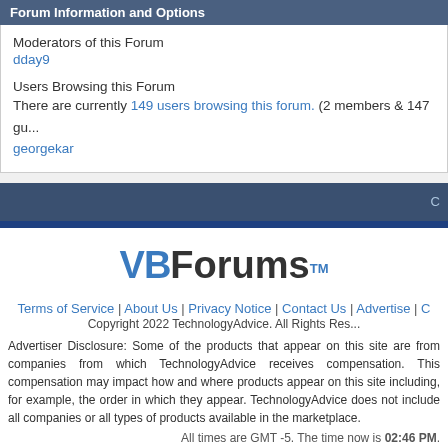Forum Information and Options
Moderators of this Forum
dday9
Users Browsing this Forum
There are currently 149 users browsing this forum. (2 members & 147 guests)
georgekar
[Figure (screenshot): Dark navigation bar with text on right side]
[Figure (logo): VBForums logo with TM mark]
Terms of Service | About Us | Privacy Notice | Contact Us | Advertise | C...
Copyright 2022 TechnologyAdvice. All Rights Res...
Advertiser Disclosure: Some of the products that appear on this site are from companies from which TechnologyAdvice receives compensation. This compensation may impact how and where products appear on this site including, for example, the order in which they appear. TechnologyAdvice does not include all companies or all types of products available in the marketplace.
All times are GMT -5. The time now is 02:46 PM.